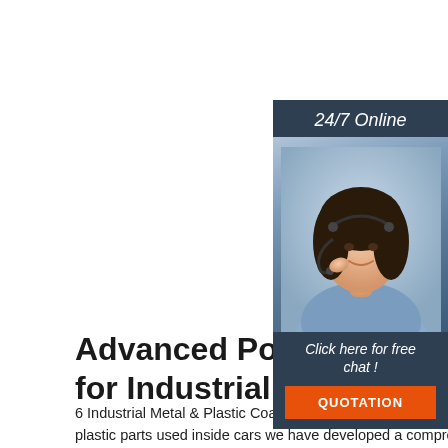[Figure (photo): 24/7 Online customer service widget with a woman wearing a headset, dark navy background, 'Click here for free chat!' text, and orange QUOTATION button]
Advanced Polymer Technologies for Industrial Metal ...
6 Industrial Metal & Plastic Coatings Industrial Metal & Plastic Coatings 7 Automotive interior For plastic parts used inside cars we have developed a comprehensive portfolio of water-borne, solvent-borne, 100% UV and powder
[Figure (other): Green 'Get Price' button]
[Figure (logo): Orange TOP badge/logo with dot pattern]